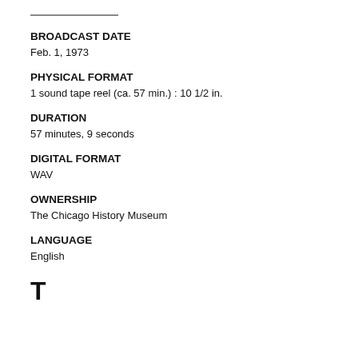BROADCAST DATE
Feb. 1, 1973
PHYSICAL FORMAT
1 sound tape reel (ca. 57 min.) : 10 1/2 in.
DURATION
57 minutes, 9 seconds
DIGITAL FORMAT
WAV
OWNERSHIP
The Chicago History Museum
LANGUAGE
English
T